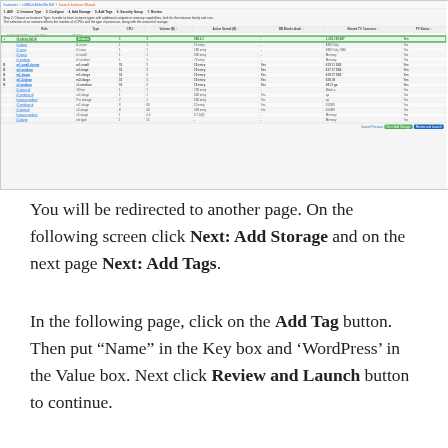[Figure (screenshot): Screenshot of an AWS EC2 instance selection table interface. Shows a data table with multiple columns including Role, Type, CPU, Volume (B), Active Stored (B), DB Blocks Avail., Shared TV Connects, and PV Status. One row is highlighted in green. Bottom action bar shows Cancel, Previous, Next: Add Storage, and Review and Launch buttons.]
You will be redirected to another page. On the following screen click Next: Add Storage and on the next page Next: Add Tags.
In the following page, click on the Add Tag button. Then put “Name” in the Key box and ‘WordPress’ in the Value box. Next click Review and Launch button to continue.